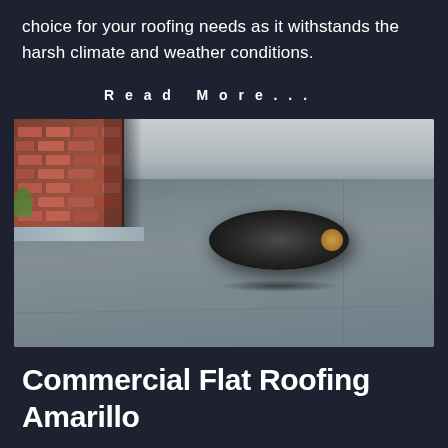choice for your roofing needs as it withstands the harsh climate and weather conditions.
Read More...
[Figure (photo): A roll of flat roofing membrane material laid out on a flat roof surface, with a brick chimney visible in the upper left corner and metal flashing at its base.]
Commercial Flat Roofing Amarillo